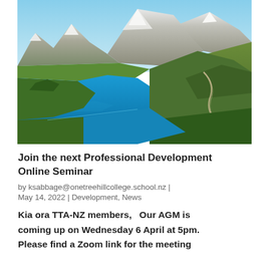[Figure (photo): Aerial landscape photo of a turquoise lake with green forested hills and snow-capped mountains in the background, likely Queenstown or Glenorchy area in New Zealand. A winding road is visible on the hillside.]
Join the next Professional Development Online Seminar
by ksabbage@onetreehillcollege.school.nz |
May 14, 2022 | Development, News
Kia ora TTA-NZ members,   Our AGM is coming up on Wednesday 6 April at 5pm. Please find a Zoom link for the meeting